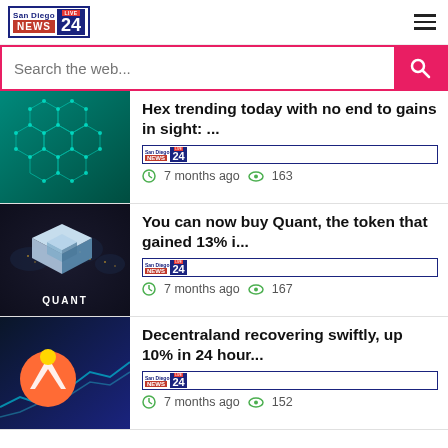San Diego NEWS 24 LIVE
Search the web...
Hex trending today with no end to gains in sight: ...
7 months ago  163
You can now buy Quant, the token that gained 13% i...
7 months ago  167
Decentraland recovering swiftly, up 10% in 24 hour...
7 months ago  152